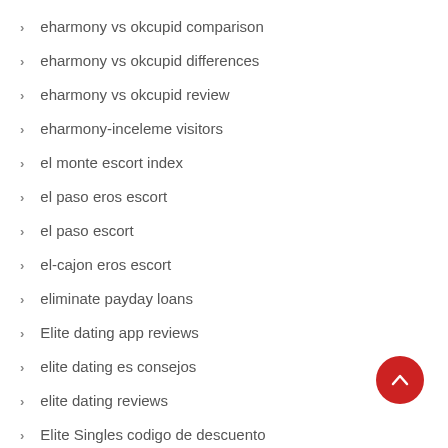eharmony vs okcupid comparison
eharmony vs okcupid differences
eharmony vs okcupid review
eharmony-inceleme visitors
el monte escort index
el paso eros escort
el paso escort
el-cajon eros escort
eliminate payday loans
Elite dating app reviews
elite dating es consejos
elite dating reviews
Elite Singles codigo de descuento
elite singles incontri
Elite Singles visitors